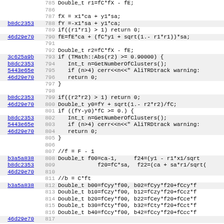Source code viewer showing lines 785-817 of a C++ file with commit hashes, line numbers, and code for AliTRD track calculations including rotation, range checks, and Jacobian matrix computation.